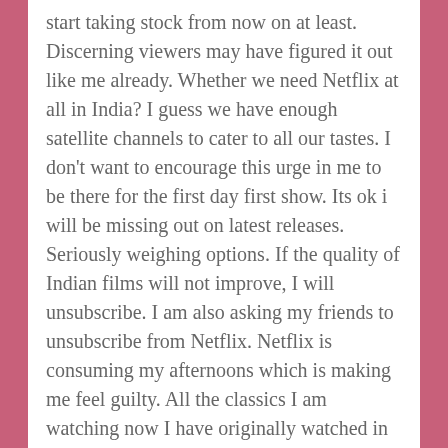start taking stock from now on at least. Discerning viewers may have figured it out like me already. Whether we need Netflix at all in India? I guess we have enough satellite channels to cater to all our tastes. I don't want to encourage this urge in me to be there for the first day first show. Its ok i will be missing out on latest releases. Seriously weighing options. If the quality of Indian films will not improve, I will unsubscribe. I am also asking my friends to unsubscribe from Netflix. Netflix is consuming my afternoons which is making me feel guilty. All the classics I am watching now I have originally watched in HBO etc., in full length without this chopping of reels here and there. Commercials are far better than trying to undercut a nation's image, something not even the Star group has done. Why should we pay for this